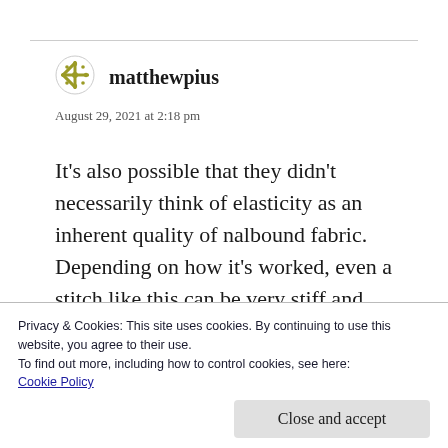matthewpius
August 29, 2021 at 2:18 pm
It's also possible that they didn't necessarily think of elasticity as an inherent quality of nalbound fabric. Depending on how it's worked, even a stitch like this can be very stiff and inelastic. So, it's not necessarily contradictory to have an inelastic band on a
Privacy & Cookies: This site uses cookies. By continuing to use this website, you agree to their use.
To find out more, including how to control cookies, see here:
Cookie Policy
Close and accept